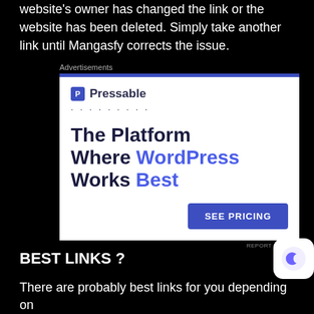website's owner has changed the link or the website has been deleted. Simply take another link until Mangasfy corrects the issue.
[Figure (screenshot): Advertisement banner for Pressable hosting. Shows Pressable logo with blue icon, dotted line separator, headline 'The Platform Where WordPress Works Best' with WordPress and Best in blue, and a blue 'SEE PRICING' button.]
BEST LINKS ?
There are probably best links for you depending on